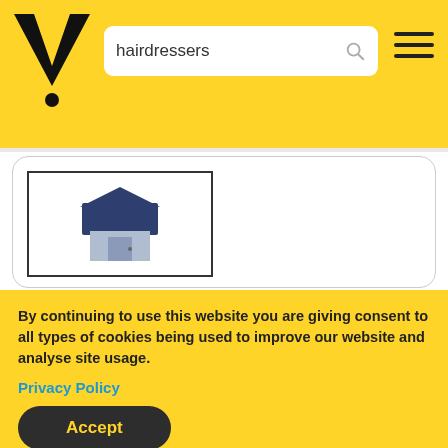[Figure (logo): Yellow pages V logo in black on yellow background]
hairdressers
[Figure (screenshot): Store/shop icon placeholder image — dark blue roof with grey walls]
Running With Scissors
hairdressers - ladies &/or uni...
011764 ...Show Number
By continuing to use this website you are giving consent to all types of cookies being used to improve our website and analyse site usage.
Privacy Policy
Accept